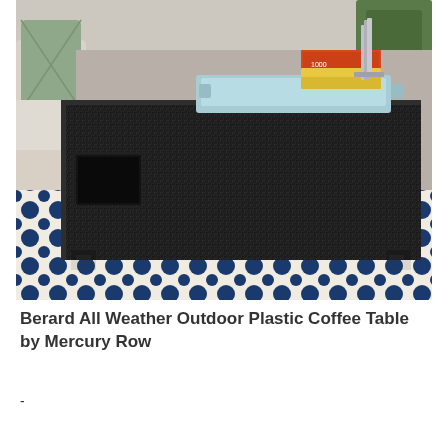[Figure (photo): A dark wicker/rattan outdoor coffee table with a light blue tray on top holding books and a candle holder. The table sits on a navy and white patterned rug. There is a sofa visible in the background.]
Berard All Weather Outdoor Plastic Coffee Table by Mercury Row
-